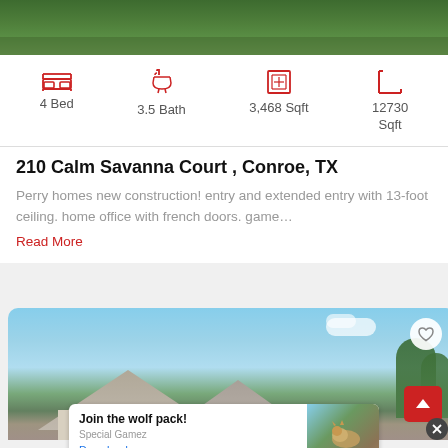[Figure (photo): Top portion of a house listing photo showing green lawn/grass area]
4 Bed   3.5 Bath   3,468 Sqft   12730 Sqft
210 Calm Savanna Court , Conroe, TX
Perry homes new construction! entry and extended entry with 13-foot ceiling. home office with french doors. game...
Read More
[Figure (photo): Second house listing photo showing a stone/brick house exterior with gray roof against blue sky with trees]
Join the wolf pack!
Special Gamez
Download
Ad